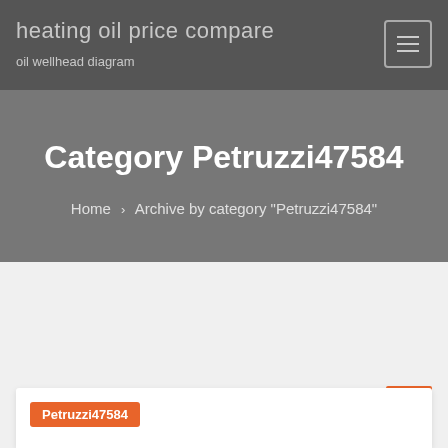heating oil price compare
oil wellhead diagram
Category Petruzzi47584
Home › Archive by category "Petruzzi47584"
Petruzzi47584